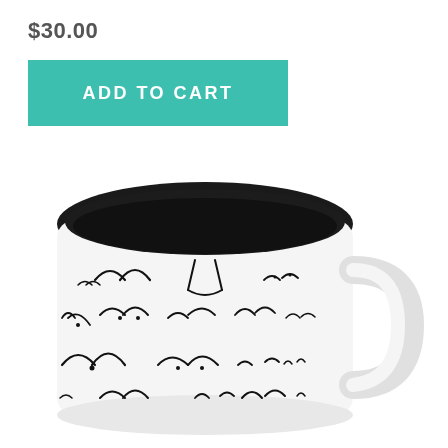$30.00
ADD TO CART
[Figure (photo): A white ceramic mug with a black interior, decorated with various illustrated line drawings on the outside. The mug has a handle on the right side.]